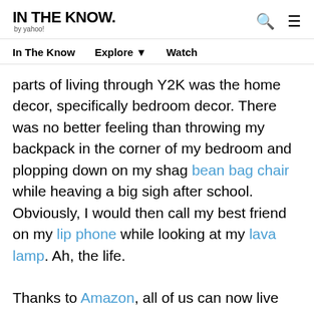IN THE KNOW. by yahoo!
In The Know   Explore ▼   Watch
parts of living through Y2K was the home decor, specifically bedroom decor. There was no better feeling than throwing my backpack in the corner of my bedroom and plopping down on my shag bean bag chair while heaving a big sigh after school. Obviously, I would then call my best friend on my lip phone while looking at my lava lamp. Ah, the life.

Thanks to Amazon, all of us can now live